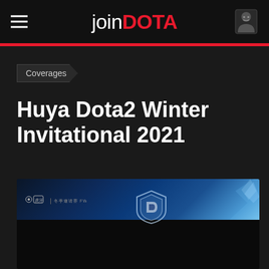joinDOTA
Coverages
Huya Dota2 Winter Invitational 2021
[Figure (photo): Huya Dota2 Winter Invitational 2021 event banner with blue fantasy artwork and Dota 2 shield logo, bottom portion dark/black]